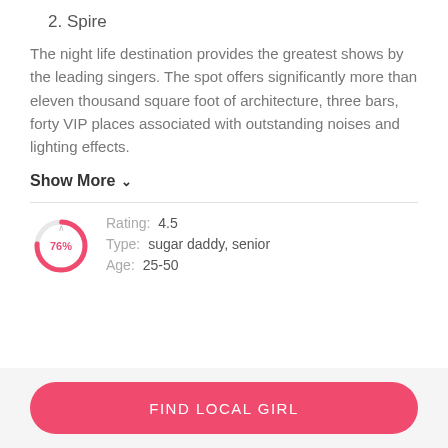2. Spire
The night life destination provides the greatest shows by the leading singers. The spot offers significantly more than eleven thousand square foot of architecture, three bars, forty VIP places associated with outstanding noises and lighting effects.
Show More ∨
[Figure (donut-chart): Donut chart showing 76% in pink/red with a circular arc, overlapping with rating card section]
Rating: 4.5
Type: sugar daddy, senior
Age: 25-50
FIND LOCAL GIRL